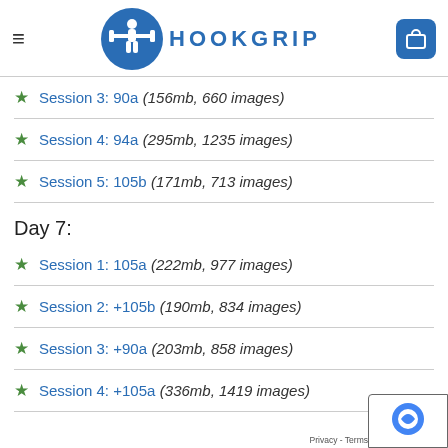HOOKGRIP
Session 3: 90a (156mb, 660 images)
Session 4: 94a (295mb, 1235 images)
Session 5: 105b (171mb, 713 images)
Day 7:
Session 1: 105a (222mb, 977 images)
Session 2: +105b (190mb, 834 images)
Session 3: +90a (203mb, 858 images)
Session 4: +105a (336mb, 1419 images)